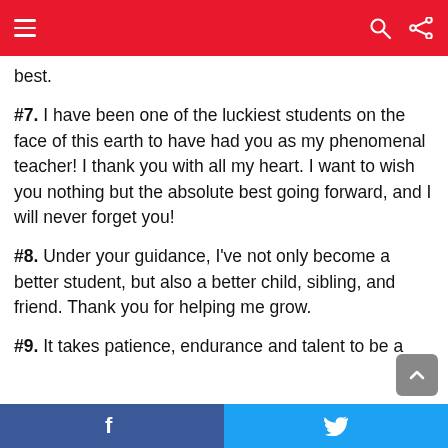Navigation bar with hamburger menu, search, and share icons
best.
#7. I have been one of the luckiest students on the face of this earth to have had you as my phenomenal teacher! I thank you with all my heart. I want to wish you nothing but the absolute best going forward, and I will never forget you!
#8. Under your guidance, I've not only become a better student, but also a better child, sibling, and friend. Thank you for helping me grow.
#9. It takes patience, endurance and talent to be a
Facebook share | Twitter share